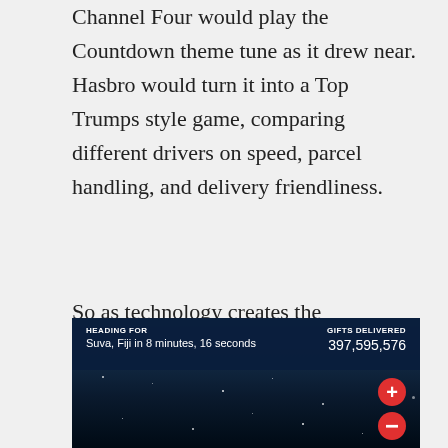Channel Four would play the Countdown theme tune as it drew near. Hasbro would turn it into a Top Trumps style game, comparing different drivers on speed, parcel handling, and delivery friendliness.
So as technology creates the opportunity to manage expectations and give customers the certainty they crave in ever easier ways, why just settle the functional when you can have a little fun with it too? If it's good enough for Santa...
[Figure (screenshot): Screenshot of a Santa tracker interface showing 'HEADING FOR Suva, Fiji in 8 minutes, 16 seconds' on the left and 'GIFTS DELIVERED 397,595,576' on the right, with a dark starry night sky background and red zoom buttons on the right side.]